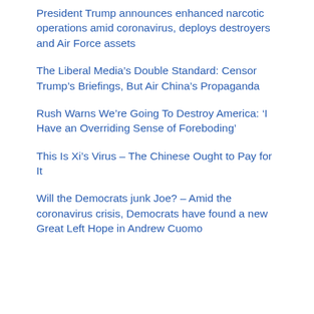President Trump announces enhanced narcotic operations amid coronavirus, deploys destroyers and Air Force assets
The Liberal Media’s Double Standard: Censor Trump’s Briefings, But Air China’s Propaganda
Rush Warns We’re Going To Destroy America: ‘I Have an Overriding Sense of Foreboding’
This Is Xi’s Virus – The Chinese Ought to Pay for It
Will the Democrats junk Joe? – Amid the coronavirus crisis, Democrats have found a new Great Left Hope in Andrew Cuomo